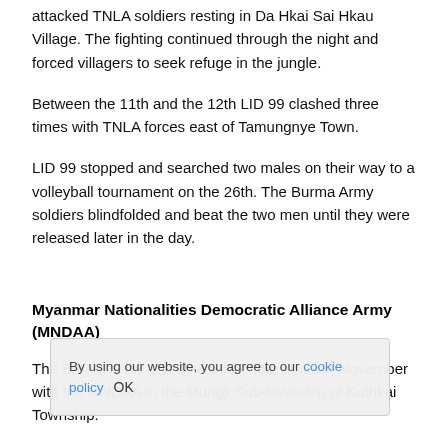attacked TNLA soldiers resting in Da Hkai Sai Hkau Village. The fighting continued through the night and forced villagers to seek refuge in the jungle.
Between the 11th and the 12th LID 99 clashed three times with TNLA forces east of Tamungnye Town.
LID 99 stopped and searched two males on their way to a volleyball tournament on the 26th. The Burma Army soldiers blindfolded and beat the two men until they were released later in the day.
Myanmar Nationalities Democratic Alliance Army (MNDAA)
The Burma Army LID 99 clashed four times in November with the MNDAA in the Mungji Sub-township of Kuthkai Township.
At 1925 on November 6th, a combined MNDAA and KIA force defended an hour-long attack by 80 soldiers from Burma Army LID 99. The clash took place in between Loi Tawng and Lung Wai and